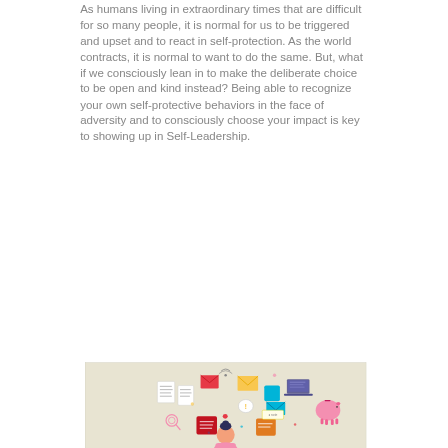As humans living in extraordinary times that are difficult for so many people, it is normal for us to be triggered and upset and to react in self-protection. As the world contracts, it is normal to want to do the same. But, what if we consciously lean in to make the deliberate choice to be open and kind instead? Being able to recognize your own self-protective behaviors in the face of adversity and to consciously choose your impact is key to showing up in Self-Leadership.
[Figure (illustration): Colorful illustration of a woman with various icons floating above her head including documents, envelopes, a piggy bank, a laptop, speech bubbles, and other office/life items, against a beige background.]